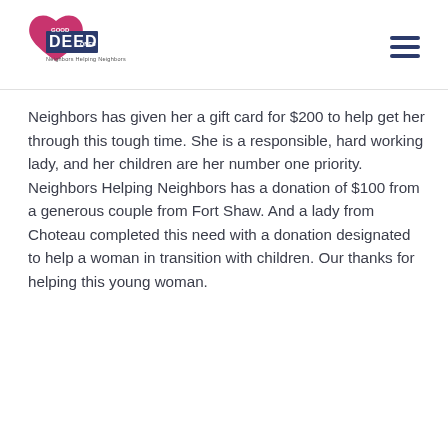[Figure (logo): Good Deed logo with a heart shape in pink/magenta and the word DEED in blue block letters with smaller text beneath]
Neighbors has given her a gift card for $200 to help get her through this tough time. She is a responsible, hard working lady, and her children are her number one priority. Neighbors Helping Neighbors has a donation of $100 from a generous couple from Fort Shaw. And a lady from Choteau completed this need with a donation designated to help a woman in transition with children. Our thanks for helping this young woman.